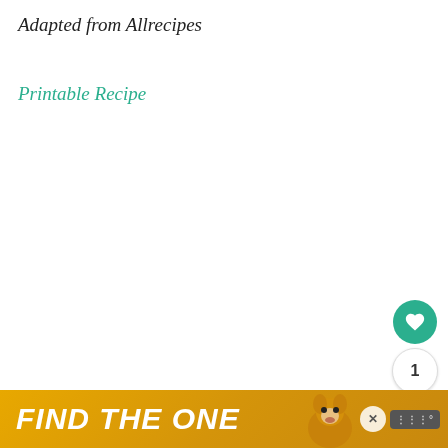Adapted from Allrecipes
Printable Recipe
[Figure (other): Green circular heart (favorite) button, count badge showing 1, and share button floating on right side of page]
[Figure (other): Advertisement banner with yellow/gold background reading FIND THE ONE with a dog image and close/audio controls]